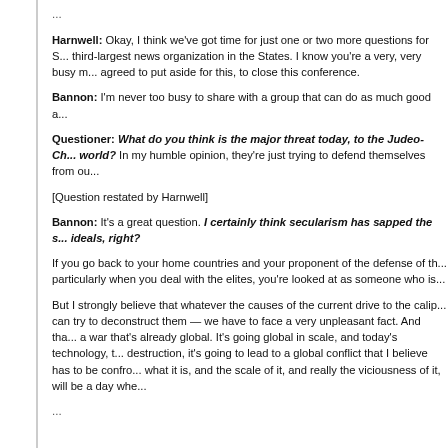...
Harnwell: Okay, I think we've got time for just one or two more questions for S... third-largest news organization in the States. I know you're a very, very busy m... agreed to put aside for this, to close this conference.
Bannon: I'm never too busy to share with a group that can do as much good a...
Questioner: What do you think is the major threat today, to the Judeo-Ch... world? In my humble opinion, they're just trying to defend themselves from ou...
[Question restated by Harnwell]
Bannon: It's a great question. I certainly think secularism has sapped the s... ideals, right?
If you go back to your home countries and your proponent of the defense of th... particularly when you deal with the elites, you're looked at as someone who is...
But I strongly believe that whatever the causes of the current drive to the calip... can try to deconstruct them — we have to face a very unpleasant fact. And tha... a war that's already global. It's going global in scale, and today's technology, t... destruction, it's going to lead to a global conflict that I believe has to be confro... what it is, and the scale of it, and really the viciousness of it, will be a day whe...
...